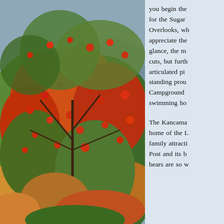[Figure (photo): Autumn foliage photograph showing tree branches densely covered with red, orange, yellow and green leaves, with a mountain visible in the background.]
you begin the for the Sugar Overlooks, wh appreciate the glance, the m cuts, but furth articulated pi standing prou Campground swimming ho

The Kancama home of the L family attracti Post and its b bears are so w